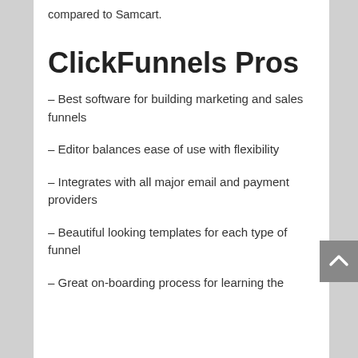compared to Samcart.
ClickFunnels Pros
– Best software for building marketing and sales funnels
– Editor balances ease of use with flexibility
– Integrates with all major email and payment providers
– Beautiful looking templates for each type of funnel
– Great on-boarding process for learning the